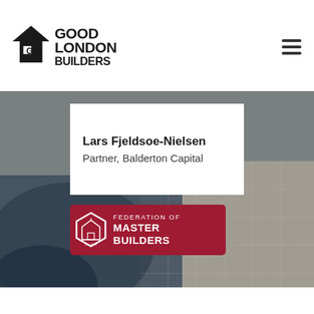[Figure (logo): Good London Builders logo with house/arrow icon on the left and company name text on the right]
[Figure (other): Hamburger menu icon (three horizontal lines) in top right corner]
[Figure (photo): Background photo of a room interior with blue fabric and tile/stone flooring visible]
Lars Fjeldsoe-Nielsen
Partner, Balderton Capital
[Figure (logo): Federation of Master Builders logo: dark red/crimson badge with hexagonal house icon on left and text 'FEDERATION OF MASTER BUILDERS' on right]